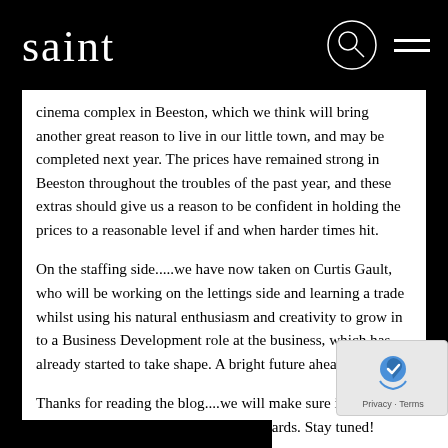saint
cinema complex in Beeston, which we think will bring another great reason to live in our little town, and may be completed next year. The prices have remained strong in Beeston throughout the troubles of the past year, and these extras should give us a reason to be confident in holding the prices to a reasonable level if and when harder times hit.
On the staffing side.....we have now taken on Curtis Gault, who will be working on the lettings side and learning a trade whilst using his natural enthusiasm and creativity to grow in to a Business Development role at the business, which has already started to take shape. A bright future ahead!
Thanks for reading the blog....we will make sure it is full of the information you need moving forwards. Stay tuned!